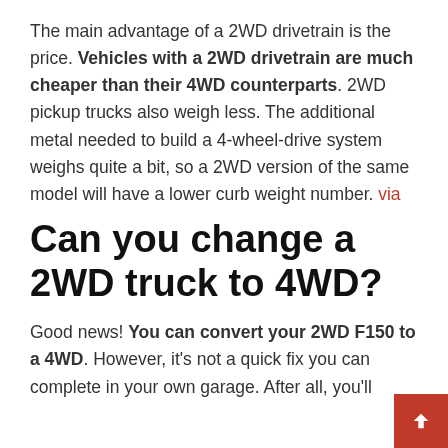The main advantage of a 2WD drivetrain is the price. Vehicles with a 2WD drivetrain are much cheaper than their 4WD counterparts. 2WD pickup trucks also weigh less. The additional metal needed to build a 4-wheel-drive system weighs quite a bit, so a 2WD version of the same model will have a lower curb weight number. via
Can you change a 2WD truck to 4WD?
Good news! You can convert your 2WD F150 to a 4WD. However, it's not a quick fix you can complete in your own garage. After all, you'll